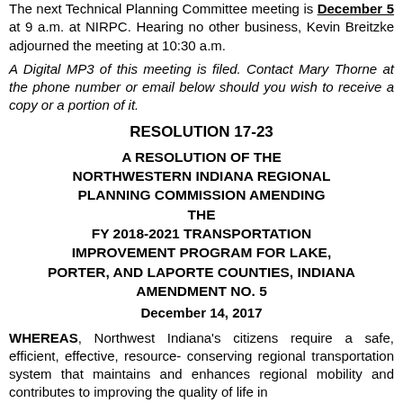The next Technical Planning Committee meeting is December 5 at 9 a.m. at NIRPC. Hearing no other business, Kevin Breitzke adjourned the meeting at 10:30 a.m.
A Digital MP3 of this meeting is filed. Contact Mary Thorne at the phone number or email below should you wish to receive a copy or a portion of it.
RESOLUTION 17-23
A RESOLUTION OF THE NORTHWESTERN INDIANA REGIONAL PLANNING COMMISSION AMENDING THE FY 2018-2021 TRANSPORTATION IMPROVEMENT PROGRAM FOR LAKE, PORTER, AND LAPORTE COUNTIES, INDIANA AMENDMENT NO. 5
December 14, 2017
WHEREAS, Northwest Indiana's citizens require a safe, efficient, effective, resource-conserving regional transportation system that maintains and enhances regional mobility and contributes to improving the quality of life in